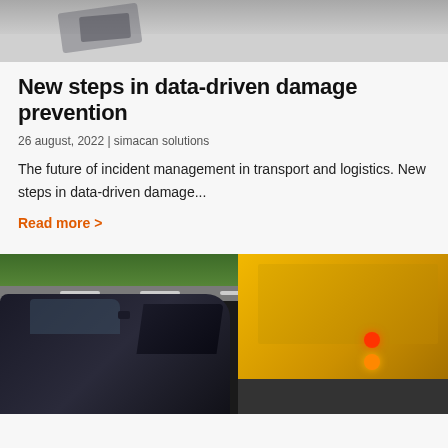[Figure (photo): Top portion of a damaged vehicle or debris on a road surface, partially visible]
New steps in data-driven damage prevention
26 august, 2022 | simacan solutions
The future of incident management in transport and logistics. New steps in data-driven damage...
Read more >
[Figure (photo): A dark car and a yellow truck involved in a road accident, photographed from the side on a road with green trees in the background]